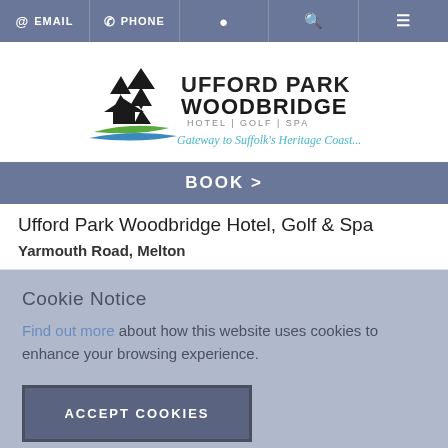EMAIL  PHONE  [location icon]  [search icon]  [menu icon]
[Figure (logo): Ufford Park Woodbridge Hotel Golf Spa logo with pine trees silhouette and tagline 'Gateway to Suffolk's Heritage Coast...']
BOOK >
Ufford Park Woodbridge Hotel, Golf & Spa
Yarmouth Road, Melton
Cookie Notice
Find out more about how this website uses cookies to enhance your browsing experience.
ACCEPT COOKIES